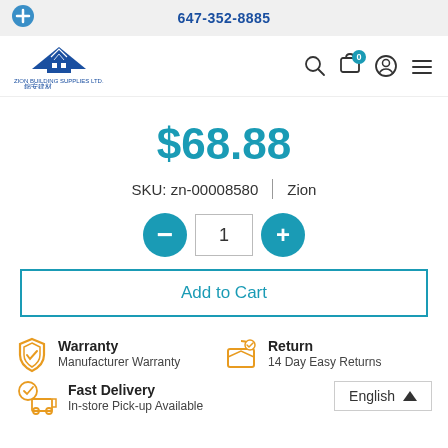647-352-8885
[Figure (logo): Zion Building Supplies Ltd. logo with blue mountain/house icon and Chinese characters]
$68.88
SKU: zn-00008580 | Zion
Add to Cart
Warranty
Manufacturer Warranty
Return
14 Day Easy Returns
Fast Delivery
In-store Pick-up Available
English